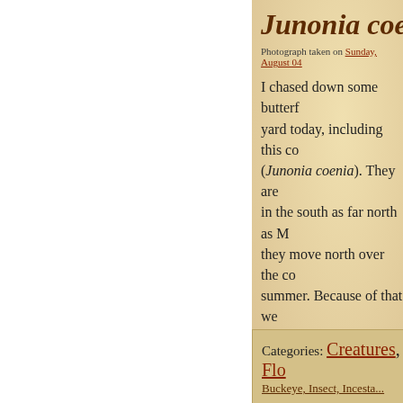Junonia coenia (
Photograph taken on Sunday, August 04
I chased down some butterf... yard today, including this co... (Junonia coenia). They are ... in the south as far north as M... they move north over the co... summer. Because of that we... later in the year than other b... only just started to see them... easy to identify and are very... other species that we have. ... obviously was interested in... Susan flowers that are in su... our yard right now.
Categories: Creatures, Flo... Buckeye, Insect, Incesta...